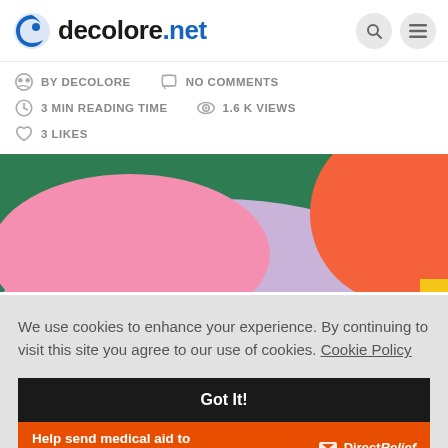decolore.net
BY DECOLORE   NO COMMENTS   3 MIN READING TIME   1.6 K VIEWS   3 LIKES
[Figure (illustration): Abstract colorful shapes illustration with green background, large pink blob, large lavender/purple oval, and an orange-red circle on the right]
We use cookies to enhance your experience. By continuing to visit this site you agree to our use of cookies. Cookie Policy
Got It!
Help send medical aid to Ukraine >>  DirectRelief